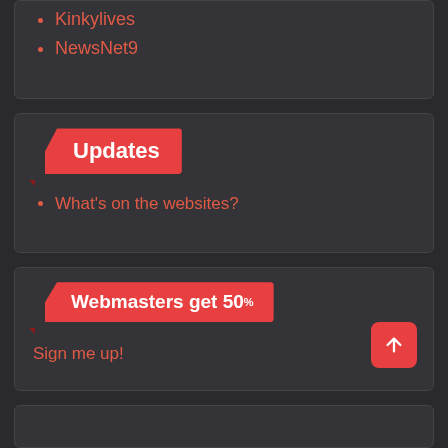Kinkylives
NewsNet9
Updates
What's on the websites?
Webmasters get 50%
Sign me up!